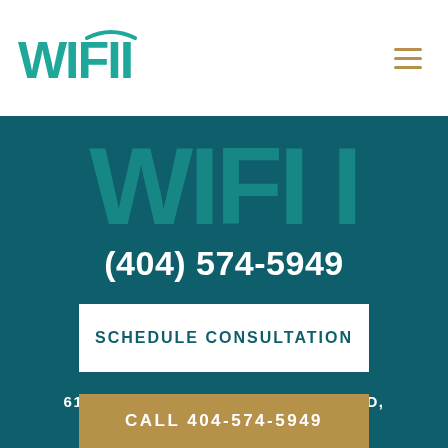WIFII
[Figure (logo): Large teal WIFII logo text displayed as a watermark background on dark teal section]
(404) 574-5949
SCHEDULE CONSULTATION
6115 PEACHTREE DUNWOODY ROAD, ATLANTA, GA 30328
CALL 404-574-5949